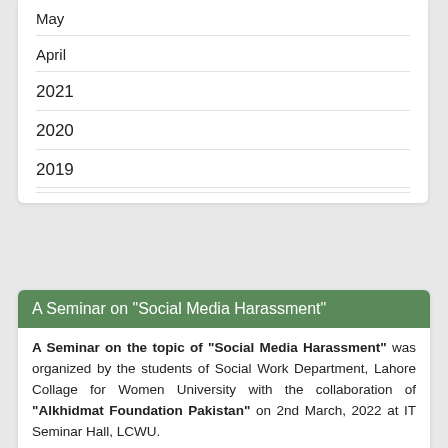May
April
2021
2020
2019
A Seminar on "Social Media Harassment"
A Seminar on the topic of "Social Media Harassment" was organized by the students of Social Work Department, Lahore Collage for Women University with the collaboration of "Alkhidmat Foundation Pakistan" on 2nd March, 2022 at IT Seminar Hall, LCWU.
[Figure (photo): Group photo of seminar participants at IT Seminar Hall, LCWU]